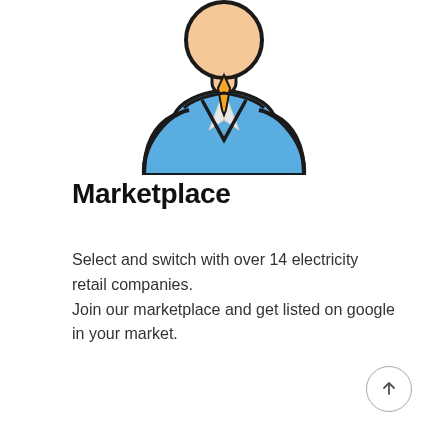[Figure (illustration): Cartoon illustration of a person wearing a blue V-neck shirt with white collar detail and an orange/yellow tie, shown from the chest up. The figure has a dark outline style.]
Marketplace
Select and switch with over 14 electricity retail companies.
Join our marketplace and get listed on google in your market.